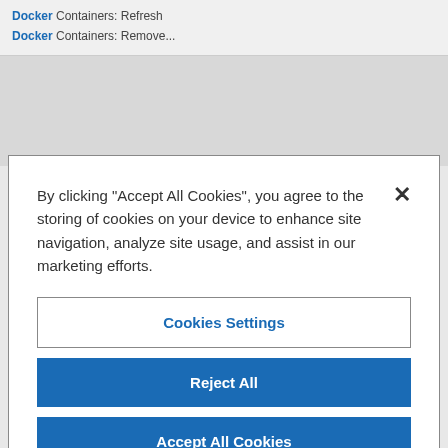Docker Containers: Refresh
Docker Containers: Remove...
By clicking “Accept All Cookies”, you agree to the storing of cookies on your device to enhance site navigation, analyze site usage, and assist in our marketing efforts.
Cookies Settings
Reject All
Accept All Cookies